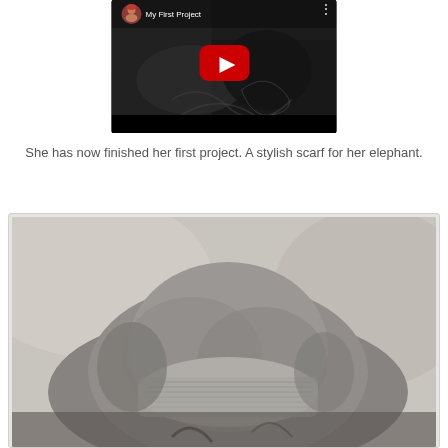[Figure (screenshot): YouTube video thumbnail showing 'My First Project' with a woman in a red hat as avatar, play button centered, dark video content behind]
She has now finished her first project. A stylish scarf for her elephant.
[Figure (photo): Close-up photo of an elephant wearing a knitted scarf, in muted grey tones]